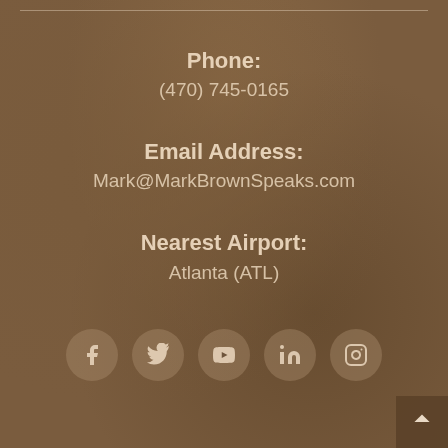Phone:
(470) 745-0165
Email Address:
Mark@MarkBrownSpeaks.com
Nearest Airport:
Atlanta (ATL)
[Figure (infographic): Row of 5 social media icons (Facebook, Twitter, YouTube, LinkedIn, Instagram) as circular buttons on a brown background]
[Figure (infographic): Back-to-top arrow button in bottom-right corner]